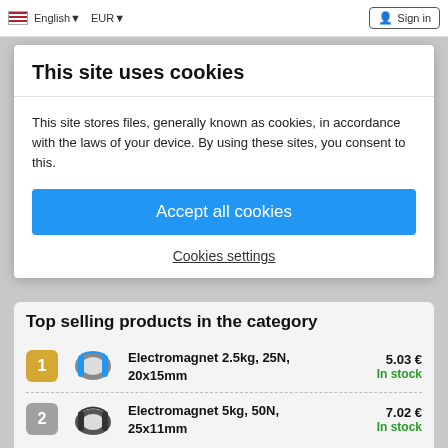English ▾  EUR ▾  Sign in
This site uses cookies
This site stores files, generally known as cookies, in accordance with the laws of your device. By using these sites, you consent to this.
Accept all cookies
Cookies settings
Top selling products in the category
1  Electromagnet 2.5kg, 25N, 20x15mm  5.03 €  In stock
2  Electromagnet 5kg, 50N, 25x11mm  7.02 €  In stock